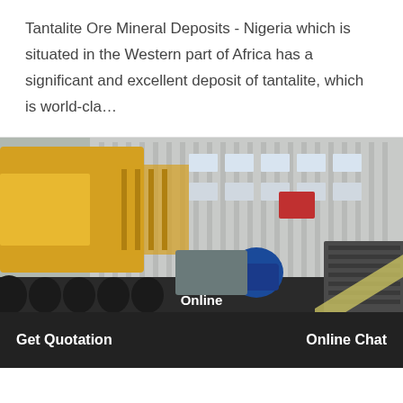Tantalite Ore Mineral Deposits - Nigeria which is situated in the Western part of Africa has a significant and excellent deposit of tantalite, which is world-cla…
[Figure (photo): Industrial mining/ore processing machinery in a factory or warehouse setting. Yellow heavy equipment in background, black conveyor/roller machinery in foreground, blue electric motor visible, grey corrugated metal building in background.]
Online
Get Quotation
Online Chat